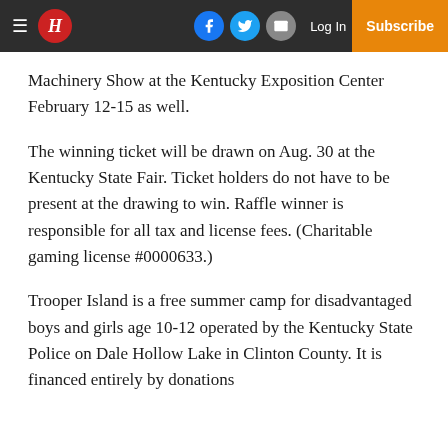H — Log In | Subscribe
Machinery Show at the Kentucky Exposition Center February 12-15 as well.
The winning ticket will be drawn on Aug. 30 at the Kentucky State Fair. Ticket holders do not have to be present at the drawing to win. Raffle winner is responsible for all tax and license fees. (Charitable gaming license #0000633.)
Trooper Island is a free summer camp for disadvantaged boys and girls age 10-12 operated by the Kentucky State Police on Dale Hollow Lake in Clinton County. It is financed entirely by donations